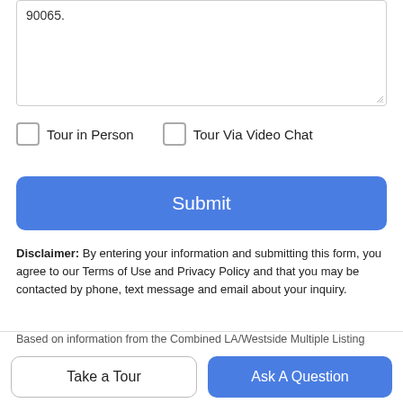90065.
Tour in Person
Tour Via Video Chat
Submit
Disclaimer: By entering your information and submitting this form, you agree to our Terms of Use and Privacy Policy and that you may be contacted by phone, text message and email about your inquiry.
Based on information from the Combined LA/Westside Multiple Listing Service as of 2022-08-20T23:35:47.023. All data, including all measurements and calculations of area, is obtained from
Take a Tour
Ask A Question